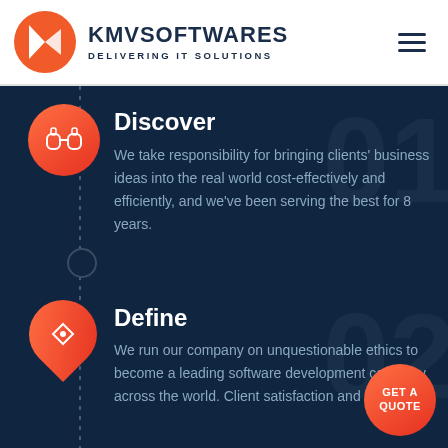KMVSOFTWARES DELIVERING IT SOLUTIONS
Discover
We take responsibility for bringing clients' business ideas into the real world cost-effectively and efficiently, and we've been serving the best for 8 years.
Define
We run our company on unquestionable ethics to become a leading software development company across the world. Client satisfaction and business...